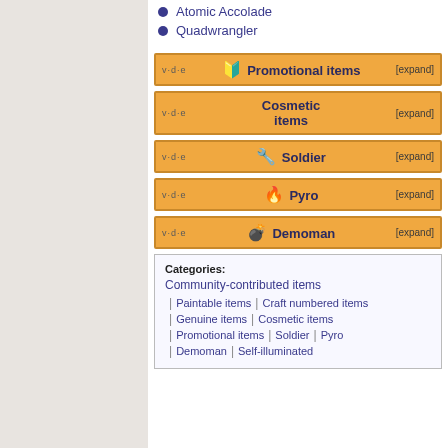Atomic Accolade
Quadwrangler
| v·d·e | Promotional items | [expand] |
| --- | --- | --- |
| v·d·e | Cosmetic items | [expand] |
| --- | --- | --- |
| v·d·e | Soldier | [expand] |
| --- | --- | --- |
| v·d·e | Pyro | [expand] |
| --- | --- | --- |
| v·d·e | Demoman | [expand] |
| --- | --- | --- |
Categories: Community-contributed items | Paintable items | Craft numbered items | Genuine items | Cosmetic items | Promotional items | Soldier | Pyro | Demoman | Self-illuminated